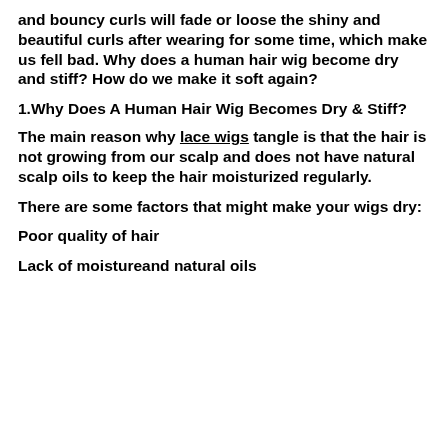and bouncy curls will fade or loose the shiny and beautiful curls after wearing for some time, which make us fell bad. Why does a human hair wig become dry and stiff? How do we make it soft again?
1.Why Does A Human Hair Wig Becomes Dry & Stiff?
The main reason why lace wigs tangle is that the hair is not growing from our scalp and does not have natural scalp oils to keep the hair moisturized regularly.
There are some factors that might make your wigs dry:
Poor quality of hair
Lack of moistureand natural oils